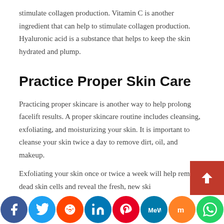stimulate collagen production. Vitamin C is another ingredient that can help to stimulate collagen production. Hyaluronic acid is a substance that helps to keep the skin hydrated and plump.
Practice Proper Skin Care
Practicing proper skincare is another way to help prolong facelift results. A proper skincare routine includes cleansing, exfoliating, and moisturizing your skin. It is important to cleanse your skin twice a day to remove dirt, oil, and makeup.
Exfoliating your skin once or twice a week will help remove dead skin cells and reveal the fresh, new ski...